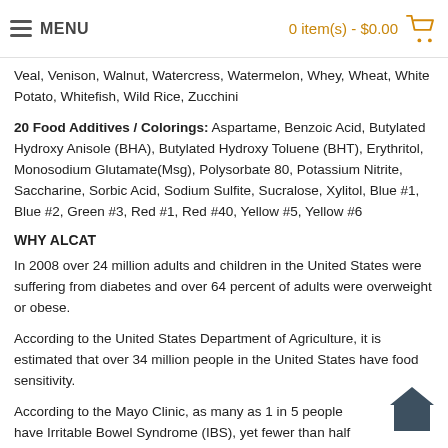MENU   0 item(s) - $0.00
Veal, Venison, Walnut, Watercress, Watermelon, Whey, Wheat, White Potato, Whitefish, Wild Rice, Zucchini
20 Food Additives / Colorings: Aspartame, Benzoic Acid, Butylated Hydroxy Anisole (BHA), Butylated Hydroxy Toluene (BHT), Erythritol, Monosodium Glutamate(Msg), Polysorbate 80, Potassium Nitrite, Saccharine, Sorbic Acid, Sodium Sulfite, Sucralose, Xylitol, Blue #1, Blue #2, Green #3, Red #1, Red #40, Yellow #5, Yellow #6
WHY ALCAT
In 2008 over 24 million adults and children in the United States were suffering from diabetes and over 64 percent of adults were overweight or obese.
According to the United States Department of Agriculture, it is estimated that over 34 million people in the United States have food sensitivity.
According to the Mayo Clinic, as many as 1 in 5 people have Irritable Bowel Syndrome (IBS), yet fewer than half seek medical attention.